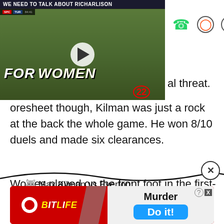[Figure (screenshot): Video player showing football match clip titled 'We Need To Talk About Richarlison' with play button, scoreboard overlay and green FORO/WOMEN advertising boards]
al threat.
oresheet though, Kilman was just a rock at the back the whole game. He won 8/10 duels and made six clearances.
Wolves played on the front foot in the first-half and he was just imperious in possession, breaking the lines and moving the ball across the defence.
🐺 Max Kilman vs Everton:
[Figure (screenshot): BitLife advertisement banner with red background, BitLife logo on left, and Murder/Do it! call-to-action on right with blue button]